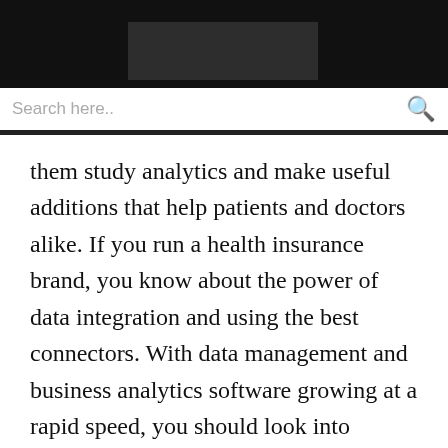Search here..
them study analytics and make useful additions that help patients and doctors alike. If you run a health insurance brand, you know about the power of data integration and using the best connectors. With data management and business analytics software growing at a rapid speed, you should look into software as a service (SaaS) to help keep your health fund company running smoothly. One of the best solutions is integration platforms as a